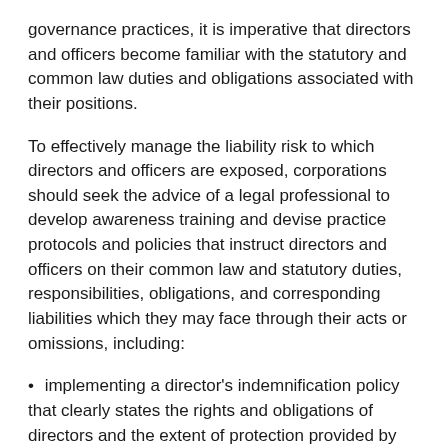governance practices, it is imperative that directors and officers become familiar with the statutory and common law duties and obligations associated with their positions.
To effectively manage the liability risk to which directors and officers are exposed, corporations should seek the advice of a legal professional to develop awareness training and devise practice protocols and policies that instruct directors and officers on their common law and statutory duties, responsibilities, obligations, and corresponding liabilities which they may face through their acts or omissions, including:
implementing a director's indemnification policy that clearly states the rights and obligations of directors and the extent of protection provided by the corporation;
implementing policies against outside employment/business that may interfere with or influence the organization's duties
advising against accepting gifts, favours, or services related